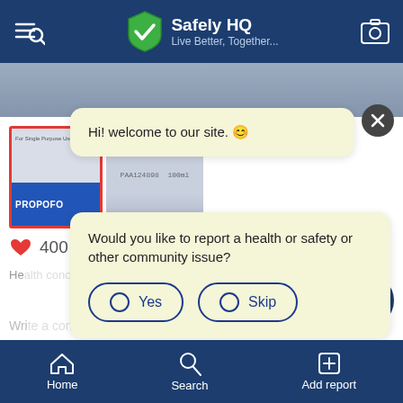[Figure (screenshot): Mobile app screenshot of Safely HQ application showing a chatbot overlay with welcome message and community reporting prompt]
Safely HQ — Live Better, Together...
Hi! welcome to our site. 😊
Would you like to report a health or safety or other community issue?
Yes
Skip
Home  Search  Add report